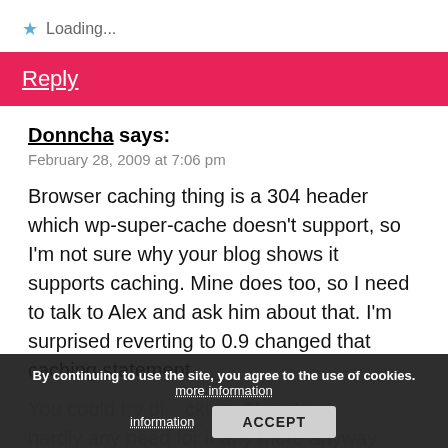★ Loading...
Reply
Donncha says:
February 28, 2009 at 7:06 pm
Browser caching thing is a 304 header which wp-super-cache doesn't support, so I'm not sure why your blog shows it supports caching. Mine does too, so I need to talk to Alex and ask him about that. I'm surprised reverting to 0.9 changed that caching statement.
You could try di... cking. There's hardly any need for it any more anyway since writes are done to temporary files
By continuing to use the site, you agree to the use of cookies. more information  ACCEPT